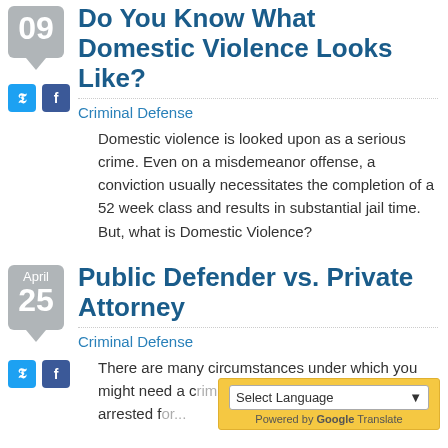Do You Know What Domestic Violence Looks Like?
Criminal Defense
Domestic violence is looked upon as a serious crime. Even on a misdemeanor offense, a conviction usually necessitates the completion of a 52 week class and results in substantial jail time. But, what is Domestic Violence?
Public Defender vs. Private Attorney
Criminal Defense
There are many circumstances under which you might need a criminal attorney, whether you were arrested f...